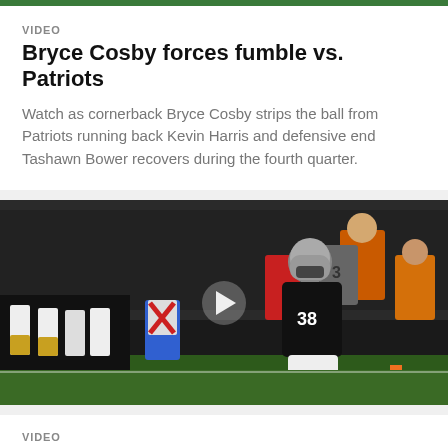VIDEO
Bryce Cosby forces fumble vs. Patriots
Watch as cornerback Bryce Cosby strips the ball from Patriots running back Kevin Harris and defensive end Tashawn Bower recovers during the fourth quarter.
[Figure (photo): Football player #38 in black Raiders uniform running near the end zone with crowd and cheerleaders in background, with a video play button overlay]
VIDEO
Brittain Brown's 3-yard TD run ices game